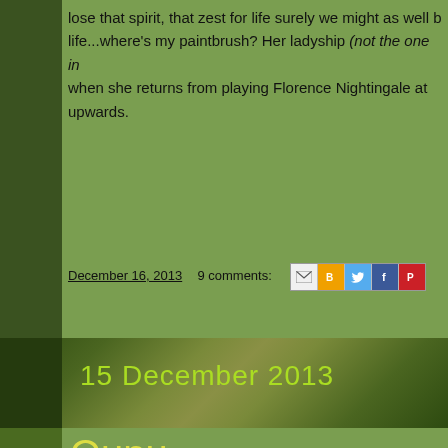lose that spirit, that zest for life surely we might as well b... life...where's my paintbrush? Her ladyship (not the one in... when she returns from playing Florence Nightingale at... upwards.
December 16, 2013   9 comments:
[Figure (screenshot): Share icons row: email (M), blogger (B), twitter bird, facebook (f), pinterest (P)]
15 December 2013
Qunu